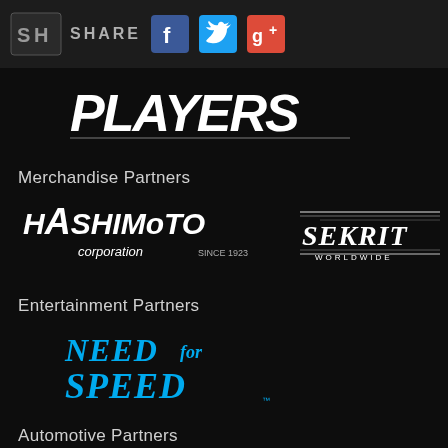SH  SHARE
[Figure (logo): Players logo in stylized white text on dark background]
Merchandise Partners
[Figure (logo): Hashimoto Corporation Since 1923 logo in white italic text]
[Figure (logo): Sekrit Worldwide logo in white stylized text with horizontal lines]
Entertainment Partners
[Figure (logo): Need for Speed logo in blue and white stylized text]
Automotive Partners